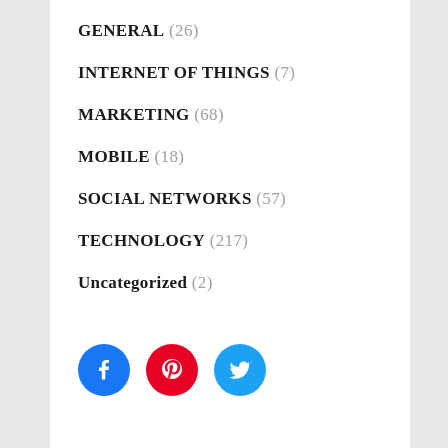GENERAL (26)
INTERNET OF THINGS (7)
MARKETING (68)
MOBILE (18)
SOCIAL NETWORKS (57)
TECHNOLOGY (217)
Uncategorized (2)
[Figure (infographic): Three social media icon circles: Facebook (blue), Pinterest (red), Twitter (cyan)]